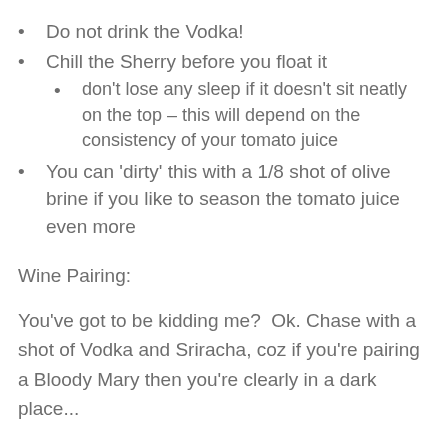Do not drink the Vodka!
Chill the Sherry before you float it
don’t lose any sleep if it doesn’t sit neatly on the top – this will depend on the consistency of your tomato juice
You can ‘dirty’ this with a 1/8 shot of olive brine if you like to season the tomato juice even more
Wine Pairing:
You’ve got to be kidding me?  Ok. Chase with a shot of Vodka and Sriracha, coz if you’re pairing a Bloody Mary then you’re clearly in a dark place...